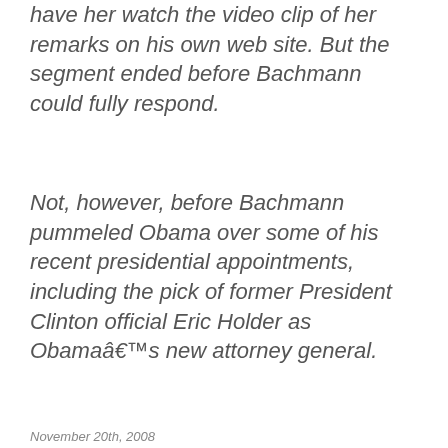have her watch the video clip of her remarks on his own web site. But the segment ended before Bachmann could fully respond.
Not, however, before Bachmann pummeled Obama over some of his recent presidential appointments, including the pick of former President Clinton official Eric Holder as Obamaâ€™s new attorney general.
November 20th, 2008